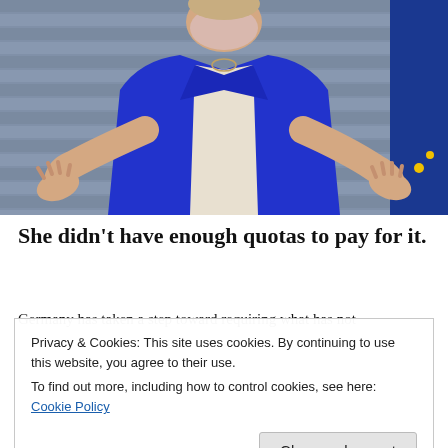[Figure (photo): A woman wearing a pink face mask and bright blue blazer jacket, gesturing with both hands open/upward, standing in front of what appears to be horizontal metal slats/blinds background, with a dark blue EU flag visible on the right side.]
She didn’t have enough quotas to pay for it.
Germany has taken a step toward requiring what has not
Privacy & Cookies: This site uses cookies. By continuing to use this website, you agree to their use.
To find out more, including how to control cookies, see here: Cookie Policy
Close and accept